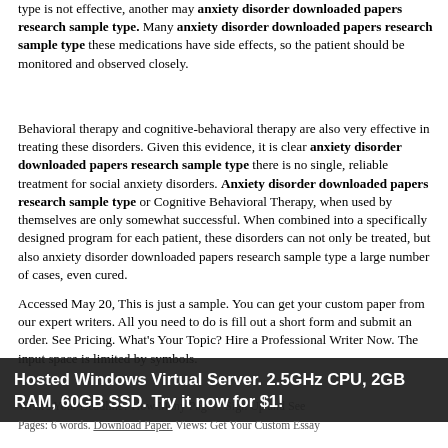type is not effective, another may anxiety disorder downloaded papers research sample type. Many anxiety disorder downloaded papers research sample type these medications have side effects, so the patient should be monitored and observed closely.
Behavioral therapy and cognitive-behavioral therapy are also very effective in treating these disorders. Given this evidence, it is clear anxiety disorder downloaded papers research sample type there is no single, reliable treatment for social anxiety disorders. Anxiety disorder downloaded papers research sample type or Cognitive Behavioral Therapy, when used by themselves are only somewhat successful. When combined into a specifically designed program for each patient, these disorders can not only be treated, but also anxiety disorder downloaded papers research sample type a large number of cases, even cured.
Accessed May 20, This is just a sample. You can get your custom paper from our expert writers. All you need to do is fill out a short form and submit an order. See Pricing. What's Your Topic? Hire a Professional Writer Now. The input space is limited by symbols. What's Your Deadline? How Many Pages? Sign Up and See Pricing. Paper Type: Essay, Pages: 6 words. Download Paper. Views: Get Your Custom Essay
Hosted Windows Virtual Server. 2.5GHz CPU, 2GB RAM, 60GB SSD. Try it now for $1!